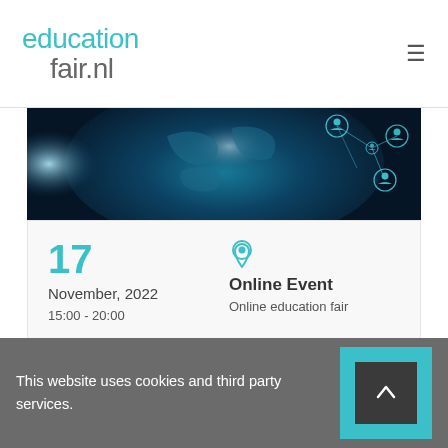educationfair.nl
[Figure (photo): Blue digital globe with network connection icons — hero banner image for an online education fair event]
17
November, 2022
15:00 - 20:00
Online Event
Online education fair
This website uses cookies and third party services.